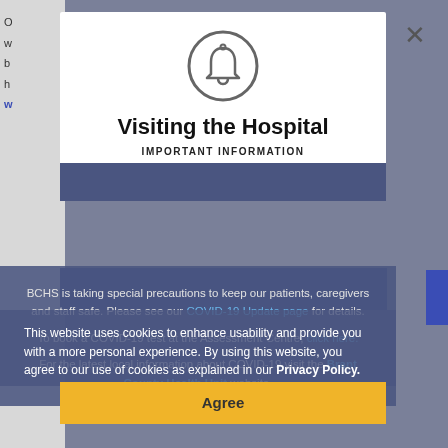[Figure (screenshot): Background webpage content partially visible behind modal overlay]
[Figure (screenshot): Modal dialog box titled 'Visiting the Hospital' with a bell icon, 'IMPORTANT INFORMATION' subtitle, modal text about BCHS COVID-19 precautions and links, overlaid with a cookie consent banner saying 'This website uses cookies to enhance usability...' and an Agree button]
This website uses cookies to enhance usability and provide you with a more personal experience. By using this website, you agree to our use of cookies as explained in our Privacy Policy.
BCHS is taking special precautions to keep our patients, caregivers and staff safe. Please see our COVID-19 Update page for details.
To book a COVID-19 test at the Assessment Centre, click here.
For the latest local information about COVID-19 visit the Brant County Health Unit website.
Agree